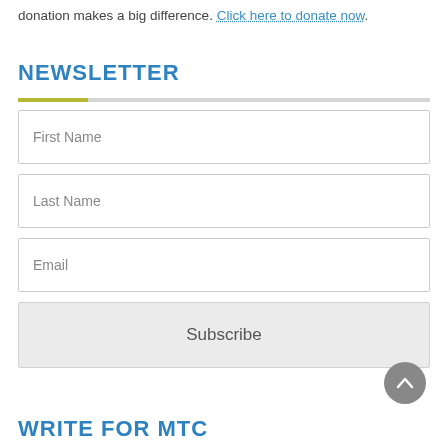donation makes a big difference. Click here to donate now.
NEWSLETTER
[Figure (other): Newsletter subscription form with First Name, Last Name, Email fields and Subscribe button]
WRITE FOR MTC